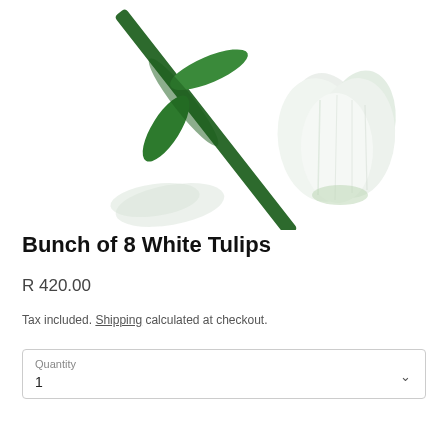[Figure (photo): A white tulip with green leaves on a white background, shown diagonally from upper-left to lower-right.]
Bunch of 8 White Tulips
R 420.00
Tax included. Shipping calculated at checkout.
Quantity
1